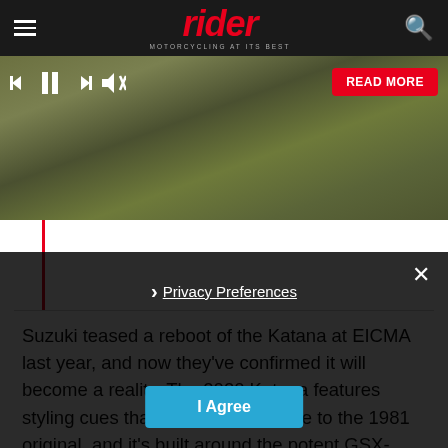rider — MOTORCYCLING AT ITS BEST
[Figure (screenshot): Hero image of a motorcycle in outdoor grassy terrain with media player controls (skip back, pause, skip forward, mute) and a red READ MORE button overlaid. A red vertical progress bar line is visible below.]
Suzuki teased a reboot of the Katana at EICMA last year, and now they've confirmed it will become a reality. The 2020 Katana features styling cues that pay direct homage to the 1981 original, and it's built around the potent GSX-R1000 999cc inline-four.
Privacy Preferences
I Agree